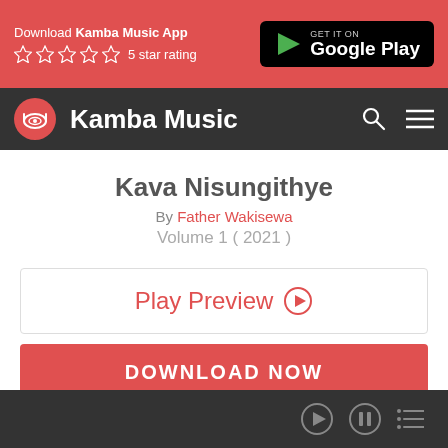Download Kamba Music App — ☆☆☆☆☆ 5 star rating — GET IT ON Google Play
Kamba Music
Kava Nisungithye
By Father Wakisewa
Volume 1 ( 2021 )
Play Preview ▶
DOWNLOAD NOW
▶ ⏸ ≡